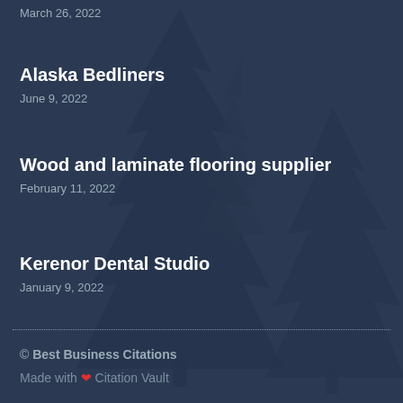Alaska Bedliners
June 9, 2022
Wood and laminate flooring supplier
February 11, 2022
Kerenor Dental Studio
January 9, 2022
© Best Business Citations
Made with ❤ Citation Vault